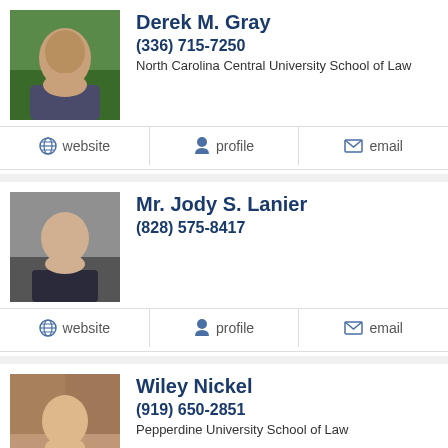[Figure (photo): Headshot photo of Derek M. Gray]
Derek M. Gray
(336) 715-7250
North Carolina Central University School of Law
website  profile  email
[Figure (photo): Headshot photo of Mr. Jody S. Lanier]
Mr. Jody S. Lanier
(828) 575-8417
website  profile  email
[Figure (photo): Headshot photo of Wiley Nickel]
Wiley Nickel
(919) 650-2851
Pepperdine University School of Law
website  profile  email